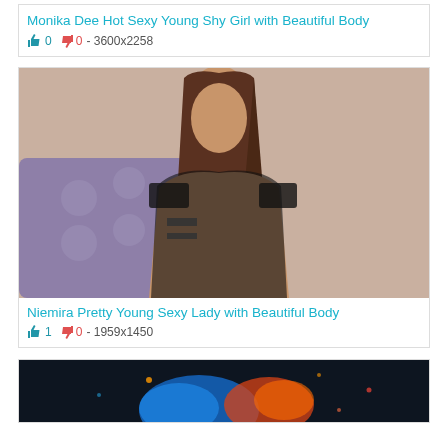Monika Dee Hot Sexy Young Shy Girl with Beautiful Body
👍 0 👎 0 - 3600x2258
[Figure (photo): Young woman with long brown hair wearing a sheer black off-shoulder top, sitting on a purple tufted chair]
Niemira Pretty Young Sexy Lady with Beautiful Body
👍 1 👎 0 - 1959x1450
[Figure (photo): Dark image with colorful blue and orange elements, appears to be a partially visible photo at bottom of page]